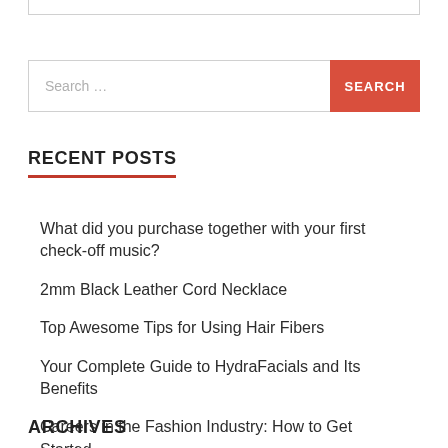Search …
RECENT POSTS
What did you purchase together with your first check-off music?
2mm Black Leather Cord Necklace
Top Awesome Tips for Using Hair Fibers
Your Complete Guide to HydraFacials and Its Benefits
Careers in the Fashion Industry: How to Get Started
ARCHIVES